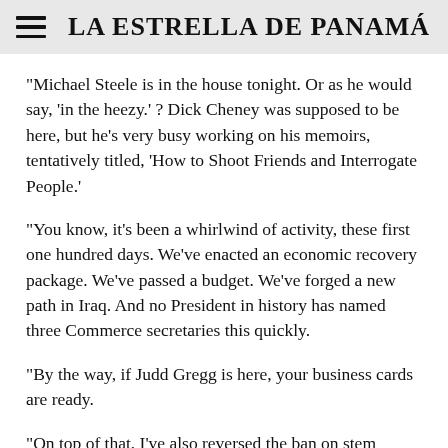LA ESTRELLA DE PANAMÁ
“Michael Steele is in the house tonight. Or as he would say, ‘in the heezy.’ ? Dick Cheney was supposed to be here, but he’s very busy working on his memoirs, tentatively titled, ‘How to Shoot Friends and Interrogate People.’
“You know, it’s been a whirlwind of activity, these first one hundred days. We’ve enacted an economic recovery package. We’ve passed a budget. We’ve forged a new path in Iraq. And no President in history has named three Commerce secretaries this quickly.
“By the way, if Judd Gregg is here, your business cards are ready.
“On top of that, I’ve also reversed the ban on stem